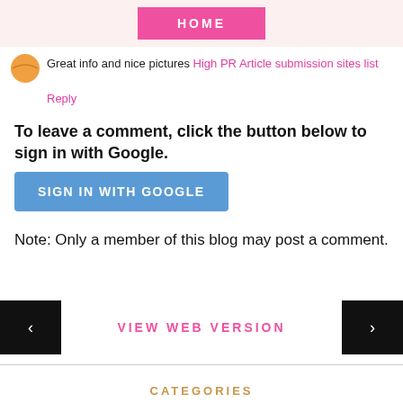HOME
Great info and nice pictures High PR Article submission sites list
Reply
To leave a comment, click the button below to sign in with Google.
[Figure (other): SIGN IN WITH GOOGLE button (blue rounded rectangle)]
Note: Only a member of this blog may post a comment.
[Figure (other): Left navigation arrow (black square with white left arrow)]
VIEW WEB VERSION
[Figure (other): Right navigation arrow (black square with white right arrow)]
CATEGORIES